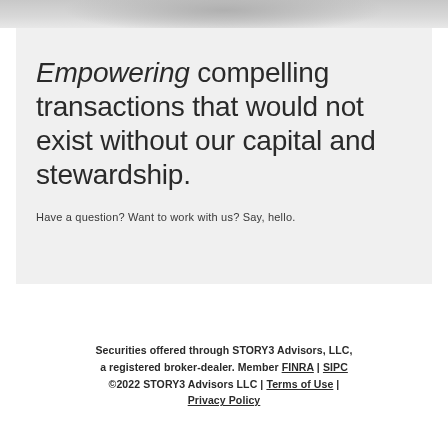[Figure (photo): Grayscale photo strip at top of page, showing what appears to be hands or a textured surface in soft focus]
Empowering compelling transactions that would not exist without our capital and stewardship.
Have a question?  Want to work with us?  Say, hello.
Securities offered through STORY3 Advisors, LLC, a registered broker-dealer. Member FINRA | SIPC ©2022 STORY3 Advisors LLC | Terms of Use | Privacy Policy